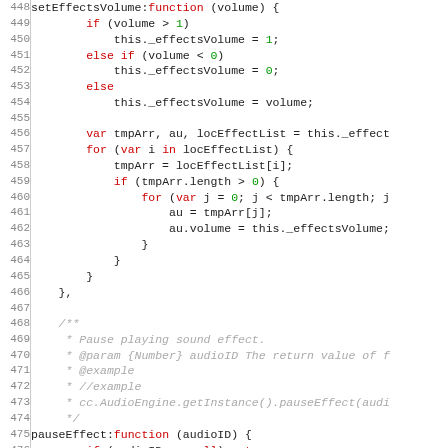[Figure (screenshot): JavaScript source code snippet showing setEffectsVolume and pauseEffect functions with syntax highlighting. Line numbers 448-477+ visible.]